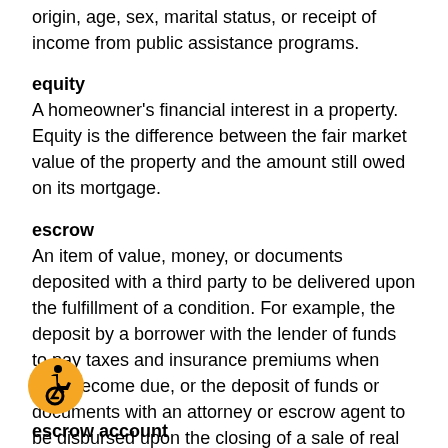origin, age, sex, marital status, or receipt of income from public assistance programs.
equity
A homeowner's financial interest in a property. Equity is the difference between the fair market value of the property and the amount still owed on its mortgage.
escrow
An item of value, money, or documents deposited with a third party to be delivered upon the fulfillment of a condition. For example, the deposit by a borrower with the lender of funds to pay taxes and insurance premiums when they become due, or the deposit of funds or documents with an attorney or escrow agent to be disbursed upon the closing of a sale of real estate.
[Figure (illustration): Accessibility icon: person in wheelchair, orange circle background]
escrow account